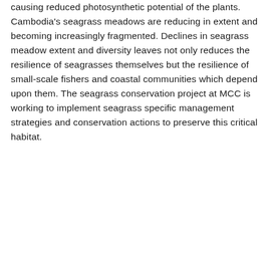causing reduced photosynthetic potential of the plants. Cambodia's seagrass meadows are reducing in extent and becoming increasingly fragmented. Declines in seagrass meadow extent and diversity leaves not only reduces the resilience of seagrasses themselves but the resilience of small-scale fishers and coastal communities which depend upon them. The seagrass conservation project at MCC is working to implement seagrass specific management strategies and conservation actions to preserve this critical habitat.